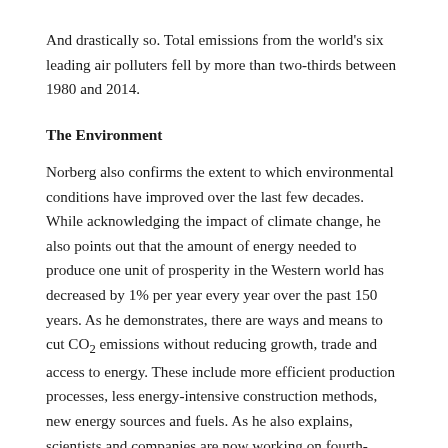And drastically so. Total emissions from the world's six leading air polluters fell by more than two-thirds between 1980 and 2014.
The Environment
Norberg also confirms the extent to which environmental conditions have improved over the last few decades. While acknowledging the impact of climate change, he also points out that the amount of energy needed to produce one unit of prosperity in the Western world has decreased by 1% per year every year over the past 150 years. As he demonstrates, there are ways and means to cut CO2 emissions without reducing growth, trade and access to energy. These include more efficient production processes, less energy-intensive construction methods, new energy sources and fuels. As he also explains, scientists and companies are now working on fourth-generation nuclear power plants, all of which have passive safety systems, that can generate hundreds of times more energy from the same